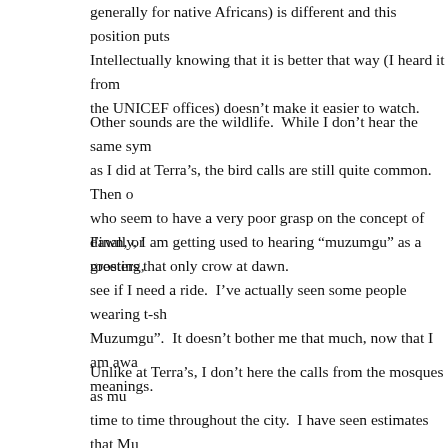generally for native Africans) is different and this position puts Intellectually knowing that it is better that way (I heard it from the UNICEF offices) doesn’t make it easier to watch.
Other sounds are the wildlife.  While I don’t hear the same symp as I did at Terra’s, the bird calls are still quite common.  Then o who seem to have a very poor grasp on the concept of dawn, or roosters that only crow at dawn.
Finally, I am getting used to hearing “muzumgu” as a greeting, a see if I need a ride.  I’ve actually seen some people wearing t-sh Muzumgu”.  It doesn’t bother me that much, now that I am awa meanings.
Unlike at Terra’s, I don’t here the calls from the mosques as mu time to time throughout the city.  I have seen estimates that Mus percent of the population of Uganda, with at least 6,700 mosque population is in the Kampala area, it isn’t surprising that there a